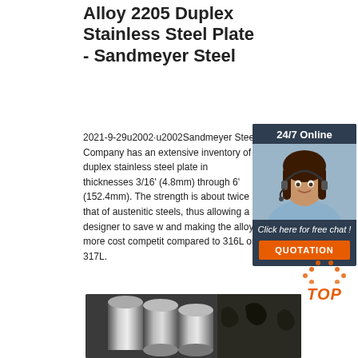Alloy 2205 Duplex Stainless Steel Plate - Sandmeyer Steel
2021-9-29u2002·u2002Sandmeyer Steel Company has an extensive inventory of duplex stainless steel plate in thicknesses 3/16' (4.8mm) through 6' (152.4mm). The strength is about twice that of austenitic steels, thus allowing a designer to save w and making the alloy more cost competit compared to 316L or 317L.
[Figure (screenshot): Customer service chat widget with '24/7 Online' header, photo of woman with headset, 'Click here for free chat!' text, and orange QUOTATION button]
[Figure (photo): Stainless steel rods/bars photograph at bottom of page]
[Figure (infographic): Orange dotted house/arrow icon with 'TOP' text in orange italic font]